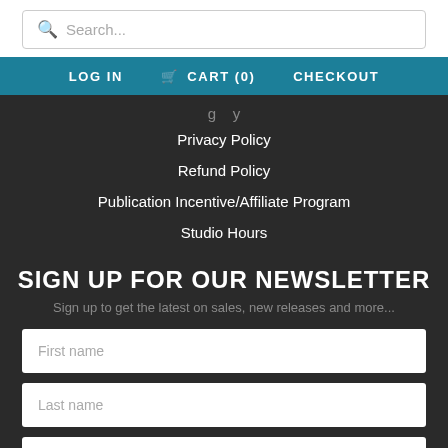Search...
LOG IN  CART (0)  CHECKOUT
[partial link]
Privacy Policy
Refund Policy
Publication Incentive/Affiliate Program
Studio Hours
SIGN UP FOR OUR NEWSLETTER
Sign up to get the latest on sales, new releases and more...
First name
Last name
Email address